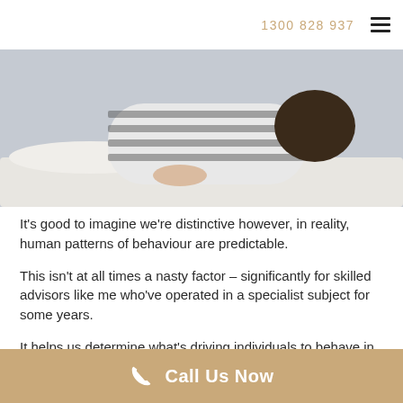1300 828 937
[Figure (photo): Person lying face down on a bed, wearing striped clothing, head resting on pillow]
It's good to imagine we're distinctive however, in reality, human patterns of behaviour are predictable.
This isn't at all times a nasty factor – significantly for skilled advisors like me who've operated in a specialist subject for some years.
It helps us determine what's driving individuals to behave in sure methods, so we will help information them by way of their property funding journey.
One of crucial steps within the course of is to determine
Call Us Now